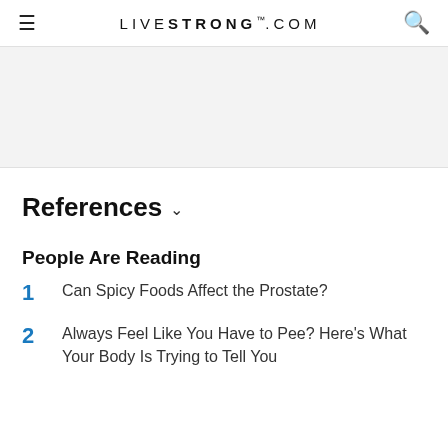LIVESTRONG.COM
[Figure (other): Gray advertisement placeholder area]
References
People Are Reading
1  Can Spicy Foods Affect the Prostate?
2  Always Feel Like You Have to Pee? Here's What Your Body Is Trying to Tell You